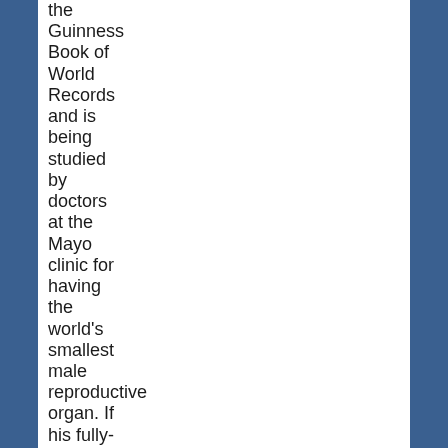the Guinness Book of World Records and is being studied by doctors at the Mayo clinic for having the world's smallest male reproductive organ. If his fully-erect male reproductive organ were magnified 1000 times, it would still fit into the